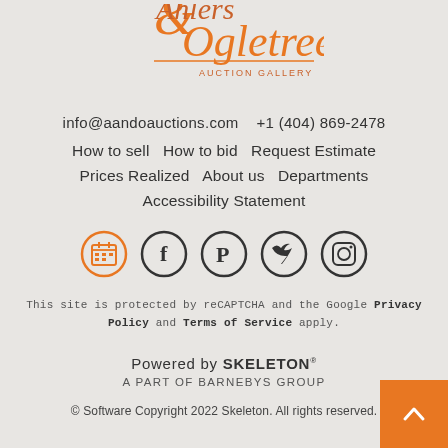[Figure (logo): Ahlers & Ogletree Auction Gallery logo in orange and dark text]
info@aandoauctions.com   +1 (404) 869-2478
How to sell   How to bid   Request Estimate
Prices Realized   About us   Departments
Accessibility Statement
[Figure (other): Social media icons: calendar (orange circle), Facebook, Pinterest, Twitter, Instagram]
This site is protected by reCAPTCHA and the Google Privacy Policy and Terms of Service apply.
Powered by SKELETON
A PART OF BARNEBYS GROUP
© Software Copyright 2022 Skeleton. All rights reserved.